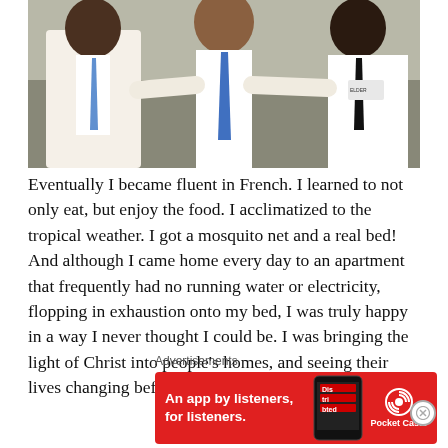[Figure (photo): Three young men wearing white dress shirts and ties posing together, likely missionaries]
Eventually I became fluent in French. I learned to not only eat, but enjoy the food. I acclimatized to the tropical weather. I got a mosquito net and a real bed! And although I came home every day to an apartment that frequently had no running water or electricity, flopping in exhaustion onto my bed, I was truly happy in a way I never thought I could be. I was bringing the light of Christ into people's homes, and seeing their lives changing before my eyes. People
Advertisements
[Figure (other): Pocket Casts advertisement banner: 'An app by listeners, for listeners.' on red background with phone image and Pocket Casts logo]